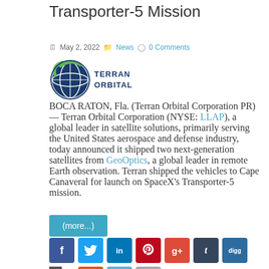Transporter-5 Mission
May 2, 2022  News  0 Comments
[Figure (logo): Terran Orbital logo — globe icon with green and blue, beside text TERRAN ORBITAL in bold dark blue]
BOCA RATON, Fla. (Terran Orbital Corporation PR) — Terran Orbital Corporation (NYSE: LLAP), a global leader in satellite solutions, primarily serving the United States aerospace and defense industry, today announced it shipped two next-generation satellites from GeoOptics, a global leader in remote Earth observation. Terran shipped the vehicles to Cape Canaveral for launch on SpaceX's Transporter-5 mission.
(more...)
[Figure (infographic): Social share icons: Facebook, Twitter, LinkedIn, Pinterest, Google+, Tumblr, Digg, and a checkered share icon; second row shows StumbleUpon, Reddit, and Email icons]